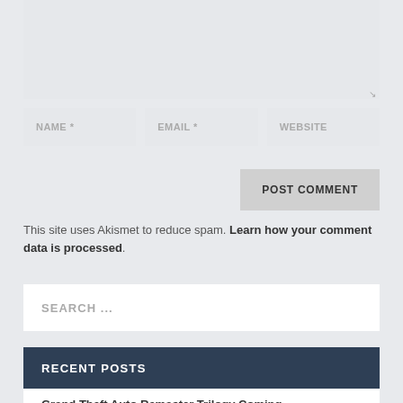[Figure (screenshot): Comment form textarea (empty, light grey background)]
[Figure (screenshot): Three input fields: NAME *, EMAIL *, WEBSITE]
[Figure (screenshot): POST COMMENT button (grey)]
This site uses Akismet to reduce spam. Learn how your comment data is processed.
[Figure (screenshot): Search input box with placeholder SEARCH ...]
RECENT POSTS
Grand Theft Auto Remaster Trilogy Coming